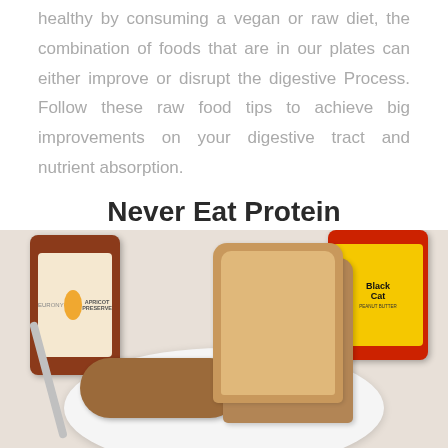healthy by consuming a vegan or raw diet, the combination of foods that are in our plates can either improve or disrupt the digestive Process. Follow these raw food tips to achieve big improvements on your digestive tract and nutrient absorption.
Never Eat Protein With Starchy Carbohydrates
[Figure (photo): Photo of peanut butter toast on a plate with a jar of apricot jam (left) and a Black Cat peanut butter jar (right), with a spoon of peanut butter in front.]